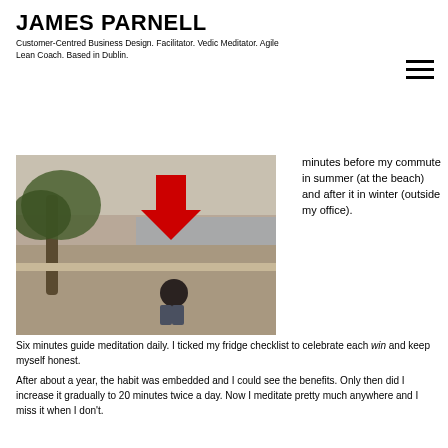JAMES PARNELL
Customer-Centred Business Design. Facilitator. Vedic Meditator. Agile Lean Coach. Based in Dublin.
[Figure (photo): A person sitting outdoors near a building with trees, and a red arrow pointing downward overlaid on the image.]
minutes before my commute in summer (at the beach) and after it in winter (outside my office). Six minutes guide meditation daily. I ticked my fridge checklist to celebrate each win and keep myself honest.
After about a year, the habit was embedded and I could see the benefits. Only then did I increase it gradually to 20 minutes twice a day. Now I meditate pretty much anywhere and I miss it when I don't.